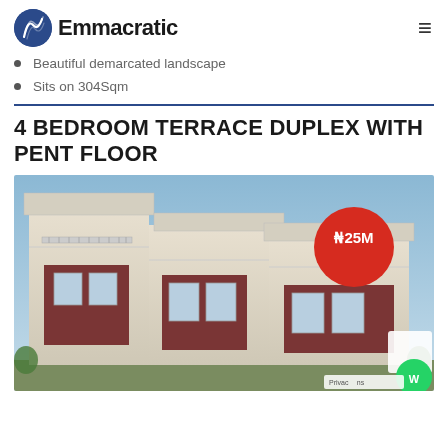Emmacratic
Beautiful demarcated landscape
Sits on 304Sqm
4 BEDROOM TERRACE DUPLEX WITH PENT FLOOR
[Figure (photo): Exterior rendering of a multi-story terrace duplex with red brick and white facade detailing, multiple units visible. Red circular price badge showing ₦25M overlaid on the image.]